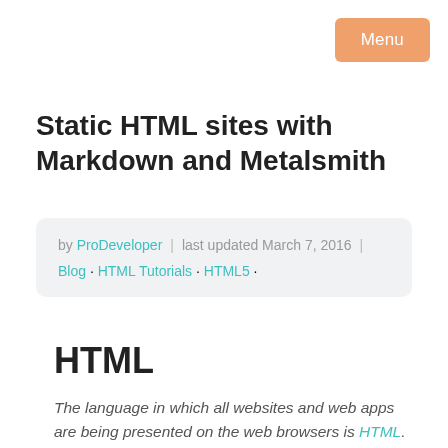Menu
Static HTML sites with Markdown and Metalsmith
by ProDeveloper | last updated March 7, 2016 | Blog · HTML Tutorials · HTML5 ·
HTML
The language in which all websites and web apps are being presented on the web browsers is HTML. This language is what web browsers read, understand and render. In addition to HTML, web applications usually have dedicated JavaScript and